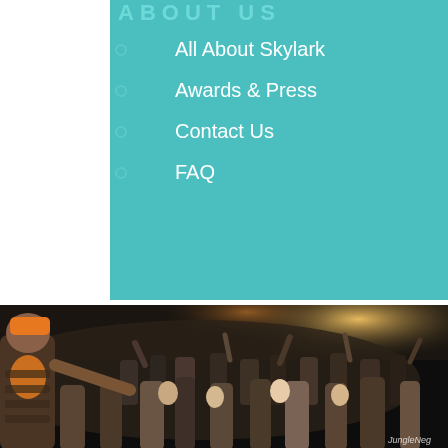ABOUT US
All About Skylark
Awards & Press
Contact Us
FAQ
[Figure (photo): A performer on stage leaning out toward an energetic crowd of dancing people in a dimly lit venue with warm lighting. The performer wears a brown striped shirt and orange cap. Watermark reads JungleNeg in bottom right corner.]